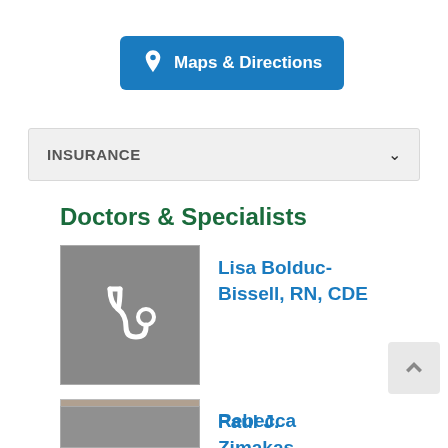[Figure (other): Maps & Directions button with location pin icon, blue background, white text]
INSURANCE
Doctors & Specialists
[Figure (illustration): Stethoscope icon placeholder image for Lisa Bolduc-Bissell]
Lisa Bolduc-Bissell, RN, CDE
[Figure (photo): Professional headshot of Paul J. Zimakas, MDCM]
Paul J. Zimakas, MDCM
[Figure (photo): Partial photo placeholder for Rebecca (name cut off)]
Rebecca